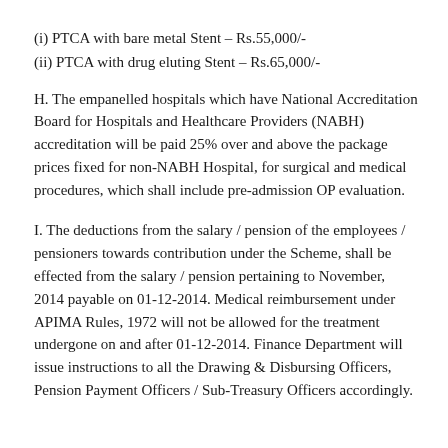(i) PTCA with bare metal Stent – Rs.55,000/-
(ii) PTCA with drug eluting Stent – Rs.65,000/-
H. The empanelled hospitals which have National Accreditation Board for Hospitals and Healthcare Providers (NABH) accreditation will be paid 25% over and above the package prices fixed for non-NABH Hospital, for surgical and medical procedures, which shall include pre-admission OP evaluation.
I. The deductions from the salary / pension of the employees / pensioners towards contribution under the Scheme, shall be effected from the salary / pension pertaining to November, 2014 payable on 01-12-2014. Medical reimbursement under APIMA Rules, 1972 will not be allowed for the treatment undergone on and after 01-12-2014. Finance Department will issue instructions to all the Drawing & Disbursing Officers, Pension Payment Officers / Sub-Treasury Officers accordingly.